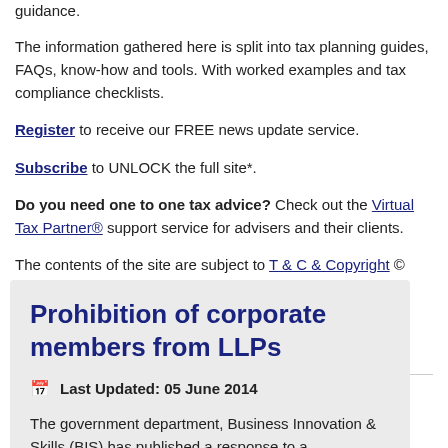guidance.
The information gathered here is split into tax planning guides, FAQs, know-how and tools. With worked examples and tax compliance checklists.
Register to receive our FREE news update service.
Subscribe to UNLOCK the full site*.
Do you need one to one tax advice? Check out the Virtual Tax Partner® support service for advisers and their clients.
The contents of the site are subject to T & C & Copyright © 2021.
* The R&D & Patent Box zone is premium content and available separately.
Prohibition of corporate members from LLPs
Last Updated: 05 June 2014
The government department, Business Innovation & Skills (BIS) has published a response to a consultation